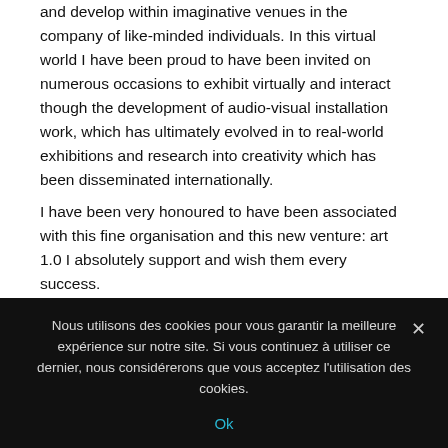and develop within imaginative venues in the company of like-minded individuals. In this virtual world I have been proud to have been invited on numerous occasions to exhibit virtually and interact though the development of audio-visual installation work, which has ultimately evolved in to real-world exhibitions and research into creativity which has been disseminated internationally.
I have been very honoured to have been associated with this fine organisation and this new venture: art 1.0 I absolutely support and wish them every success.
[Figure (photo): Circular portrait photo of Michael Brown, a man with sunglasses and a beard, wearing dark clothing, with an outdoor background.]
MICHAEL BROWN
Artiste digital (Grande Bretagne)
Nous utilisons des cookies pour vous garantir la meilleure expérience sur notre site. Si vous continuez à utiliser ce dernier, nous considérerons que vous acceptez l'utilisation des cookies.
Ok